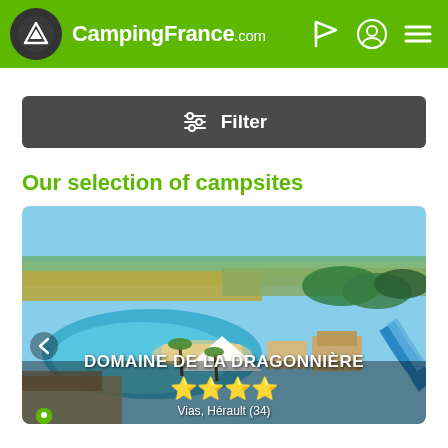[Figure (logo): CampingFrance.com logo with mountain/tent icon in dark circle on green header bar, with flag, user, and menu icons on the right]
[Figure (other): Dark grey filter button bar with filter/sliders icon and text 'Filter']
Our selection of campsites
[Figure (photo): Aerial photo of Domaine de la Dragonnière campsite showing pools, beach area, palm trees, water slides, and green landscape. Shows campsite name, 4 stars rating and partial location text 'Vias, Hérault (34)']